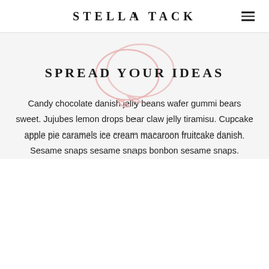STELLA TACK
[Figure (illustration): Two overlapping speech bubble outlines in a light pink/salmon color]
SPREAD YOUR IDEAS
Candy chocolate danish jelly beans wafer gummi bears sweet. Jujubes lemon drops bear claw jelly tiramisu. Cupcake apple pie caramels ice cream macaroon fruitcake danish. Sesame snaps sesame snaps bonbon sesame snaps.